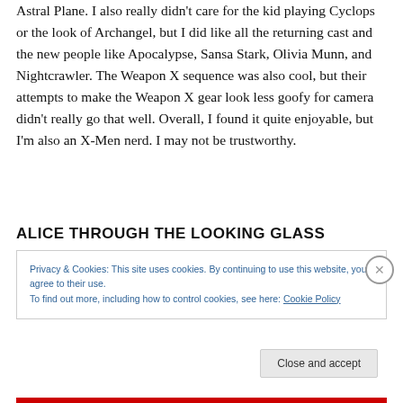Astral Plane.  I also really didn't care for the kid playing Cyclops or the look of Archangel, but I did like all the returning cast and the new people like Apocalypse, Sansa Stark, Olivia Munn, and Nightcrawler.  The Weapon X sequence was also cool, but their attempts to make the Weapon X gear look less goofy for camera didn't really go that well.  Overall, I found it quite enjoyable, but I'm also an X-Men nerd.  I may not be trustworthy.
ALICE THROUGH THE LOOKING GLASS
Privacy & Cookies: This site uses cookies. By continuing to use this website, you agree to their use.
To find out more, including how to control cookies, see here: Cookie Policy